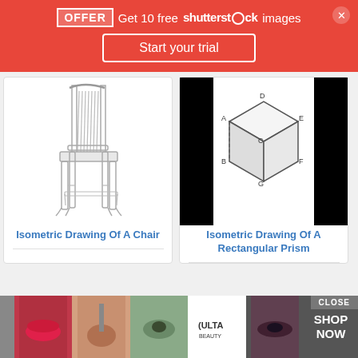OFFER  Get 10 free shutterstock images
Start your trial
[Figure (illustration): Isometric drawing of a wooden chair, grayscale line art]
Isometric Drawing Of A Chair
[Figure (engineering-diagram): Isometric drawing of a rectangular prism with labeled vertices, black panels on sides]
Isometric Drawing Of A Rectangular Prism
[Figure (photo): ULTA beauty advertisement banner with makeup product images and SHOP NOW call to action]